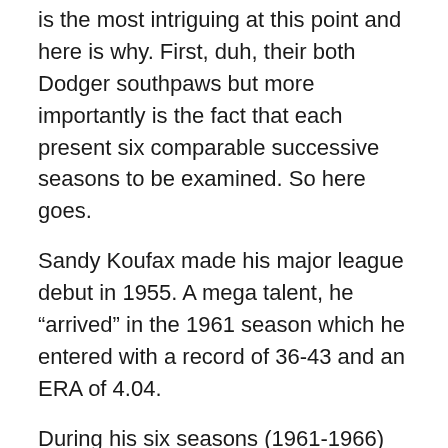is the most intriguing at this point and here is why. First, duh, their both Dodger southpaws but more importantly is the fact that each present six comparable successive seasons to be examined. So here goes.
Sandy Koufax made his major league debut in 1955. A mega talent, he “arrived” in the 1961 season which he entered with a record of 36-43 and an ERA of 4.04.
During his six seasons (1961-1966) he was 119-47 (.717) with a 2.19 ERA. He threw 1632.2 innings in 221 starts. Of those 221 starts, 115 were complete games of which 35 were shutouts; that is 30% of his complete games. He led the league in ERA for five straight seasons, wins three times and strikeouts four times, three times with over 300 K’s with a high of 382. Three times he topped the league in both wins and shutouts, twice in innings pitched and